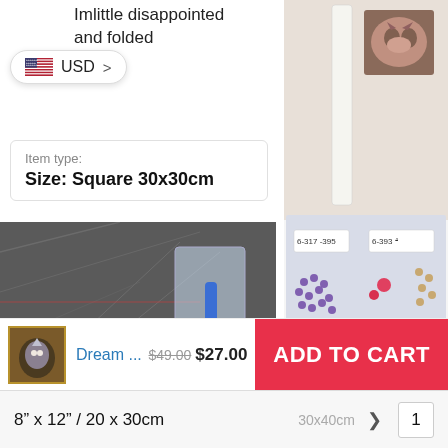Imlittle disappointed
and folded
[Figure (screenshot): USD currency selector dropdown pill with US flag]
Item type:
Size: Square 30x30cm
[Figure (photo): Photo of folded grey diamond painting canvas with plastic bags containing tools and beads]
[Figure (photo): Photo of diamond painting kit bags with small colored beads, label strips, and cat image reference]
G R.
[Figure (other): 5 orange star rating]
Everything is perfect
[Figure (photo): Product thumbnail of wolf/dream diamond painting]
Dream ...
$49.00 $27.00
ADD TO CART
8" x 12" / 20 x 30cm
30x40cm
1